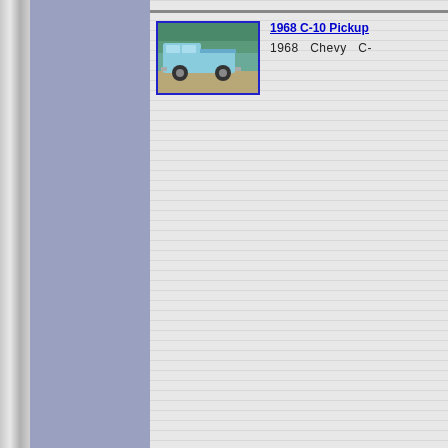[Figure (photo): Blue 1968 Chevy C-10 Pickup truck thumbnail with blue border]
1968 C-10 Pickup  1968  Chevy  C-
[Figure (photo): Yellow 1968 Ford Torino GT muscle car thumbnail with blue border]
1968 Torino GT  1968  Ford  Tor